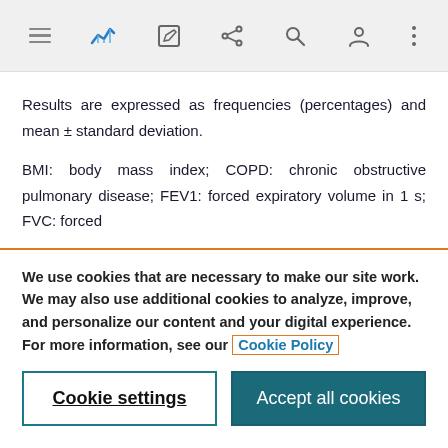Navigation bar with menu, chart, edit, share, search, profile, and more icons
Results are expressed as frequencies (percentages) and mean ± standard deviation.
BMI: body mass index; COPD: chronic obstructive pulmonary disease; FEV1: forced expiratory volume in 1 s; FVC: forced
We use cookies that are necessary to make our site work. We may also use additional cookies to analyze, improve, and personalize our content and your digital experience. For more information, see our Cookie Policy
Cookie settings
Accept all cookies